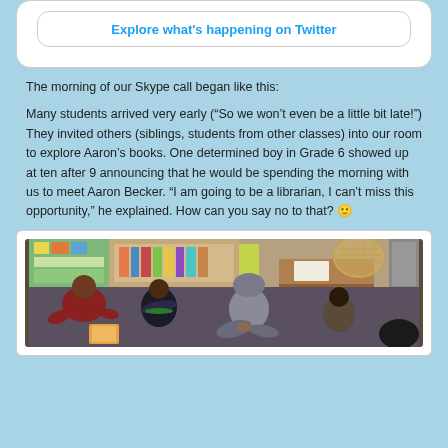[Figure (other): Twitter button: 'Explore what's happening on Twitter' in a rounded white box with light blue border]
The morning of our Skype call began like this:
Many students arrived very early (“So we won’t even be a little bit late!”) They invited others (siblings, students from other classes) into our room to explore Aaron’s books. One determined boy in Grade 6 showed up at ten after 9 announcing that he would be spending the morning with us to meet Aaron Becker. “I am going to be a librarian, I can’t miss this opportunity,” he explained. How can you say no to that? 🙂
[Figure (photo): Children sitting on a classroom floor looking at books together. Colorful classroom displays visible in the background. A wicker basket and wooden table are in the background.]